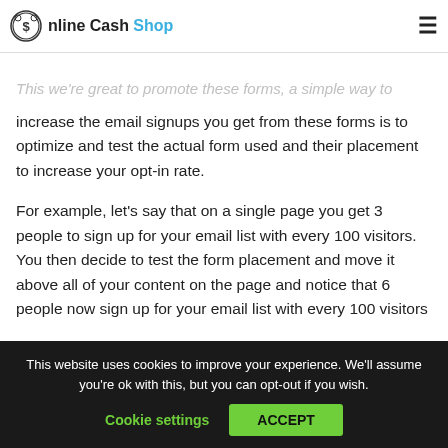Online Cash Shop
of any other leading strategy.

This we're great to promote these forms, a simple way to increase the email signups you get from these forms is to optimize and test the actual form used and their placement to increase your opt-in rate.

For example, let's say that on a single page you get 3 people to sign up for your email list with every 100 visitors. You then decide to test the form placement and move it above all of your content on the page and notice that 6 people now sign up for your email list with every 100 visitors

By simply changing the placement of the form, you've doubled
This website uses cookies to improve your experience. We'll assume you're ok with this, but you can opt-out if you wish.
Cookie settings  ACCEPT